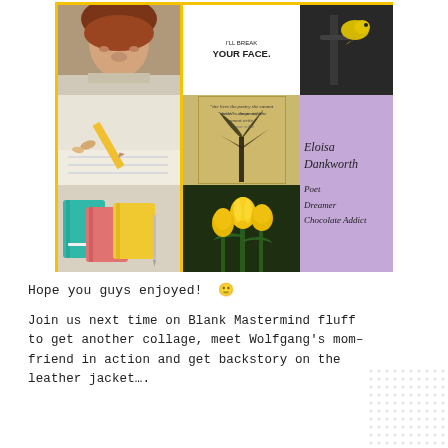[Figure (illustration): A collage grid with yellow borders containing: top-left a woman's photo, top-center text 'I'll break your face.', top-right a bird on branch photo, middle-left a pencil and notebook photo, middle-center a poetry art card with tree silhouette and quote, right side spanning two rows a purple panel with handwritten text 'Eloisa Dankworth / Poet / Dreamer / Chocolate Addict', bottom-left colorful journals/wallets, bottom-center yellow tulips photo.]
Hope you guys enjoyed! 🙂
Join us next time on Blank Mastermind fluff to get another collage, meet Wolfgang's mom-friend in action and get backstory on the leather jacket….